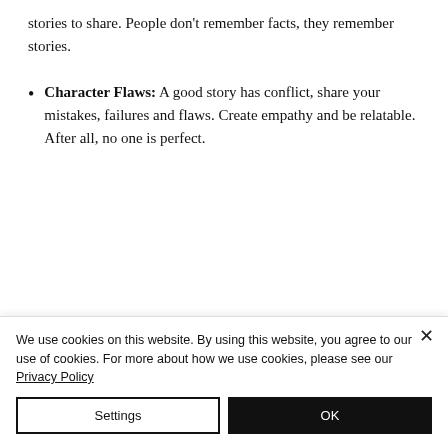stories to share. People don't remember facts, they remember stories.
Character Flaws: A good story has conflict, share your mistakes, failures and flaws. Create empathy and be relatable. After all, no one is perfect.
We use cookies on this website. By using this website, you agree to our use of cookies. For more about how we use cookies, please see our Privacy Policy
Settings
OK